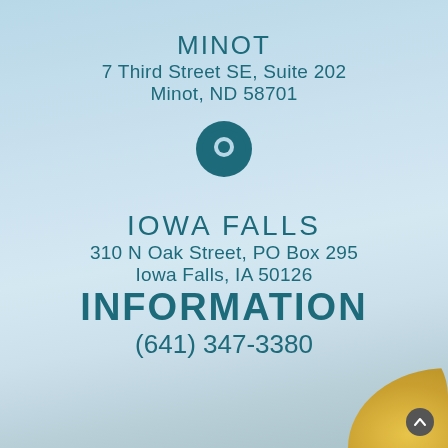MINOT
7 Third Street SE, Suite 202
Minot, ND 58701
[Figure (illustration): Location pin / map marker icon in teal]
IOWA FALLS
310 N Oak Street, PO Box 295
Iowa Falls, IA 50126
INFORMATION
(641) 347-3380